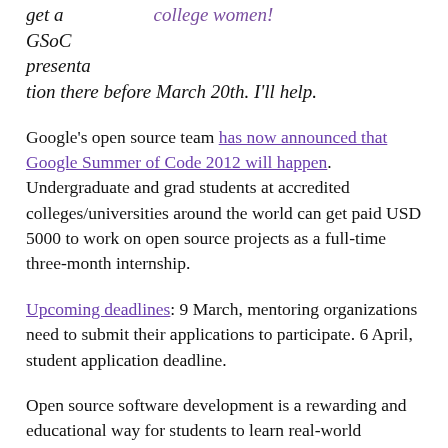get a GSoC presenta tion there before March 20th. I'll help.    college women!
Google's open source team has now announced that Google Summer of Code 2012 will happen. Undergraduate and grad students at accredited colleges/universities around the world can get paid USD 5000 to work on open source projects as a full-time three-month internship.
Upcoming deadlines: 9 March, mentoring organizations need to submit their applications to participate. 6 April, student application deadline.
Open source software development is a rewarding and educational way for students to learn real-world software engineering skills, build portfolios, and network with industry and academe. Women coders especially find GSoC a good